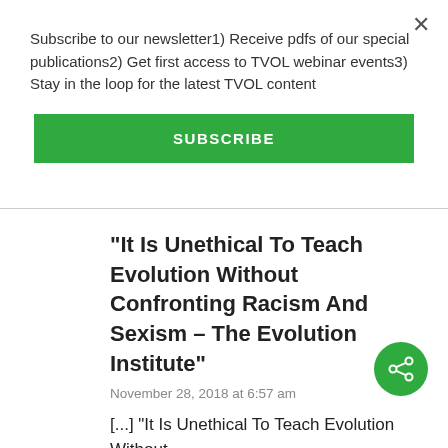Subscribe to our newsletter1) Receive pdfs of our special publications2) Get first access to TVOL webinar events3) Stay in the loop for the latest TVOL content
[Figure (other): Green SUBSCRIBE button]
"It Is Unethical To Teach Evolution Without Confronting Racism And Sexism – The Evolution Institute"
November 28, 2018 at 6:57 am
[...] "It Is Unethical To Teach Evolution Without...